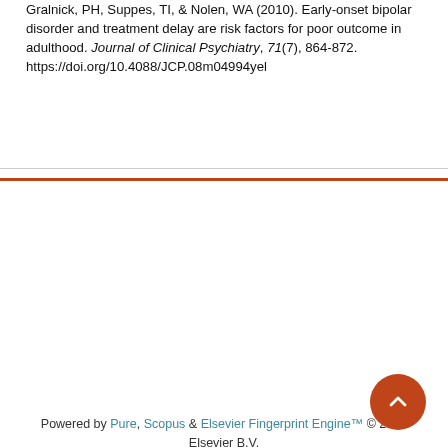Gralnick, PH, Suppes, TI, & Nolen, WA (2010). Early-onset bipolar disorder and treatment delay are risk factors for poor outcome in adulthood. Journal of Clinical Psychiatry, 71(7), 864-872. https://doi.org/10.4088/JCP.08m04994yel
Powered by Pure, Scopus & Elsevier Fingerprint Engine™ © 2022 Elsevier B.V.
We use cookies to help provide and enhance our service and tailor content. By continuing you agree to the use of cookies
Log in to Pure
About web accessibility
Contact us